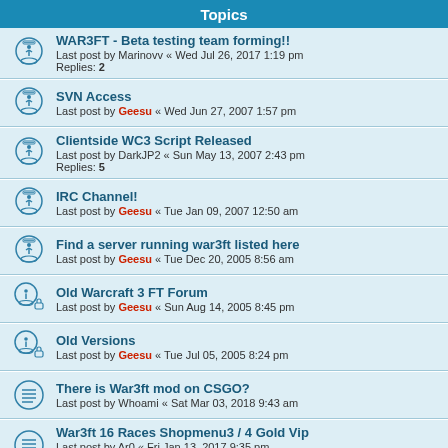Topics
WAR3FT - Beta testing team forming!!
Last post by Marinovv « Wed Jul 26, 2017 1:19 pm
Replies: 2
SVN Access
Last post by Geesu « Wed Jun 27, 2007 1:57 pm
Clientside WC3 Script Released
Last post by DarkJP2 « Sun May 13, 2007 2:43 pm
Replies: 5
IRC Channel!
Last post by Geesu « Tue Jan 09, 2007 12:50 am
Find a server running war3ft listed here
Last post by Geesu « Tue Dec 20, 2005 8:56 am
Old Warcraft 3 FT Forum
Last post by Geesu « Sun Aug 14, 2005 8:45 pm
Old Versions
Last post by Geesu « Tue Jul 05, 2005 8:24 pm
There is War3ft mod on CSGO?
Last post by Whoami « Sat Mar 03, 2018 9:43 am
War3ft 16 Races Shopmenu3 / 4 Gold Vip
Last post by Ar0 « Fri Jan 13, 2017 9:35 pm
Replies: 4
Think I have the forums fixed!